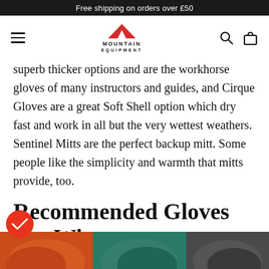Free shipping on orders over £50
[Figure (logo): Mountain Equipment logo with red mountain peak icon and text MOUNTAIN EQUIPMENT]
superb thicker options and are the workhorse gloves of many instructors and guides, and Cirque Gloves are a great Soft Shell option which dry fast and work in all but the very wettest weathers. Sentinel Mitts are the perfect backup mitt. Some people like the simplicity and warmth that mitts provide, too.
Recommended Gloves For Winter Mountaineering
[Figure (photo): Partial view of mountaineering gloves at the bottom of the page]